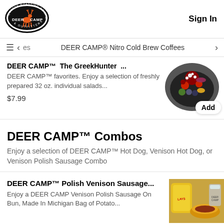[Figure (logo): Deer Camp Coffee Roasting Company & Outfitters oval logo with orange deer silhouette]
Sign In
≡  <  es   DEER CAMP® Nitro Cold Brew Coffees  >
DEER CAMP™  The GreekHunter  ...
DEER CAMP™ favorites. Enjoy a selection of freshly prepared 32 oz. individual salads...
$7.99
[Figure (photo): Greek salad bowl with feta cheese, olives, tomatoes, red onion, and pepperoncini]
DEER CAMP™ Combos
Enjoy a selection of DEER CAMP™ Hot Dog, Venison Hot Dog, or Venison Polish Sausage Combo
DEER CAMP™ Polish Venison Sausage...
Enjoy a DEER CAMP Venison Polish Sausage On Bun, Made In Michigan Bag of Potato...
[Figure (photo): Polish venison sausage combo with chips bag and drink]